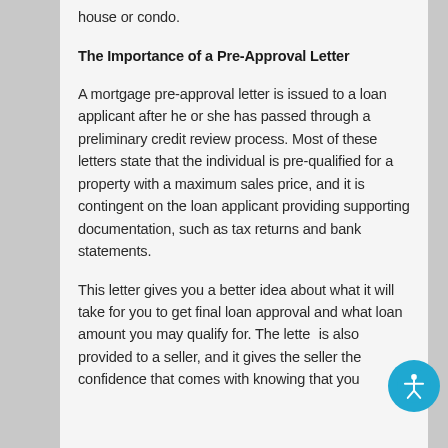house or condo.
The Importance of a Pre-Approval Letter
A mortgage pre-approval letter is issued to a loan applicant after he or she has passed through a preliminary credit review process. Most of these letters state that the individual is pre-qualified for a property with a maximum sales price, and it is contingent on the loan applicant providing supporting documentation, such as tax returns and bank statements.
This letter gives you a better idea about what it will take for you to get final loan approval and what loan amount you may qualify for. The letter is also provided to a seller, and it gives the seller the confidence that comes with knowing that you